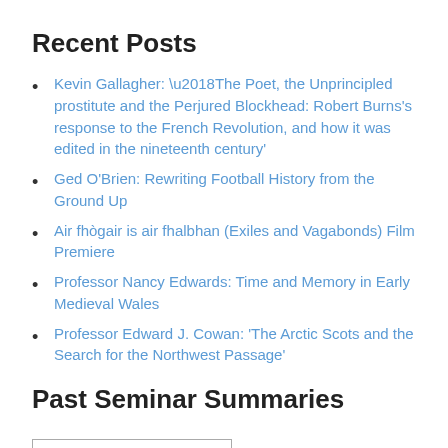Recent Posts
Kevin Gallagher: ‘The Poet, the Unprincipled prostitute and the Perjured Blockhead: Robert Burns’s response to the French Revolution, and how it was edited in the nineteenth century’
Ged O’Brien: Rewriting Football History from the Ground Up
Air fhògair is air fhalbhan (Exiles and Vagabonds) Film Premiere
Professor Nancy Edwards: Time and Memory in Early Medieval Wales
Professor Edward J. Cowan: ‘The Arctic Scots and the Search for the Northwest Passage’
Past Seminar Summaries
Select Month
Subscribe to CSCS